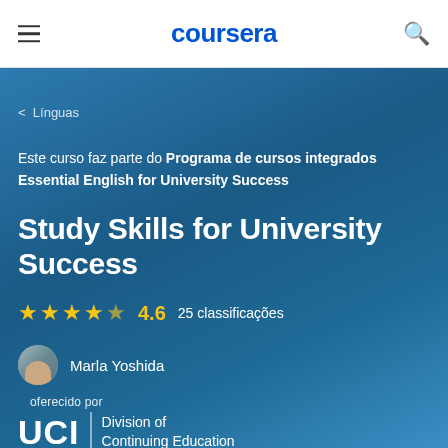coursera
< Línguas
Este curso faz parte do Programa de cursos integrados Essential English for University Success
Study Skills for University Success
★★★★☆ 4.6  25 classificações
Marla Yoshida
oferecido por
[Figure (logo): UCI Division of Continuing Education logo — white text on blue background]